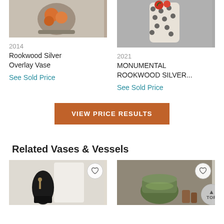[Figure (photo): Photo of a silver overlay vase with orange fruits visible inside, gray background]
[Figure (photo): Photo of a monumental Rookwood silver overlay piece with red fruits, white and black patterned background]
2014
Rookwood Silver Overlay Vase
See Sold Price
2021
MONUMENTAL ROOKWOOD SILVER...
See Sold Price
VIEW PRICE RESULTS
Related Vases & Vessels
[Figure (photo): Photo of a dark vase with figure decoration on light background]
[Figure (photo): Photo of green ceramic vessel with smaller vases, dark background]